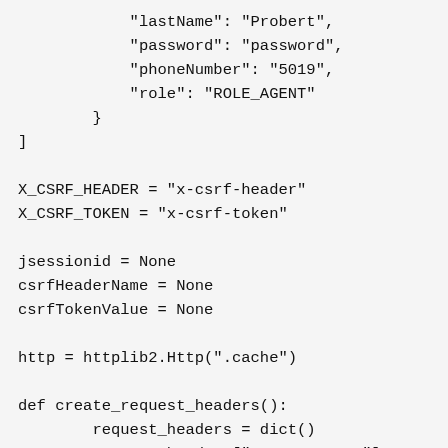"lastName": "Probert",
            "password": "password",
            "phoneNumber": "5019",
            "role": "ROLE_AGENT"
        }
]

X_CSRF_HEADER = "x-csrf-header"
X_CSRF_TOKEN = "x-csrf-token"

jsessionid = None
csrfHeaderName = None
csrfTokenValue = None

http = httplib2.Http(".cache")

def create_request_headers():
        request_headers = dict()
        request_headers["Content-Type"] =
"application/json"